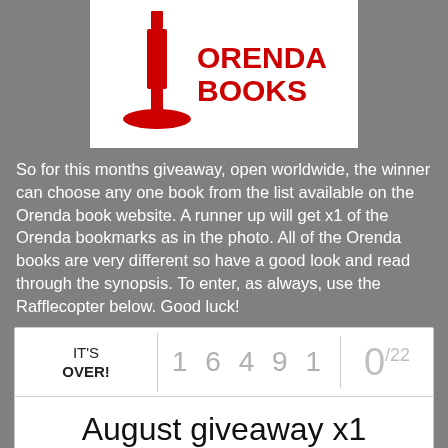[Figure (logo): Orenda Books logo: red candle/figure silhouette on white background with red bold text ORENDA BOOKS]
So for this months giveaway, open worldwide, the winner can choose any one book from the list available on the Orenda book website. A runner up will get x1 of the Orenda bookmarks as in the photo. All of the Orenda books are very different so have a good look and read through the synopsis. To enter, as always, use the Rafflecopter below. Good luck!
| IT'S OVER! | 16491 | 0/22 |
| --- | --- | --- |
|  |  |  |
August giveaway x1